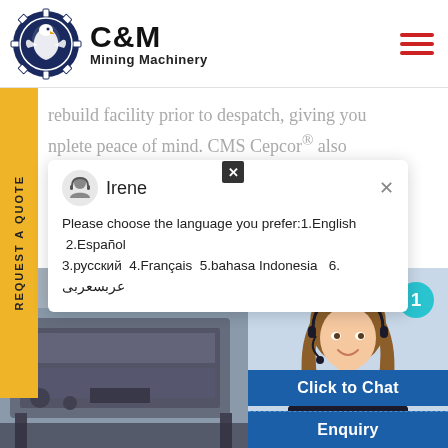[Figure (logo): C&M Mining Machinery logo with eagle/gear icon in dark blue circle, company name text]
rebuild facility prior to despatch, giving you
nplete peace of mind. CMS Cepcor® also
[Figure (screenshot): Live chat popup with avatar of Irene (customer service agent), language selection message: Please choose the language you prefer:1.English 2.Español 3.русский 4.Français 5.bahasa Indonesia 6. عربسعربی]
[Figure (photo): Mining machinery equipment photo on left, customer service woman with headset on right with Click to Chat and Enquiry buttons]